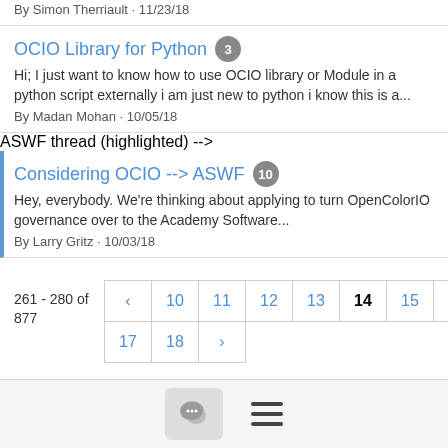By Simon Therriault · 11/23/18
OCIO Library for Python 3
Hi; I just want to know how to use OCIO library or Module in a python script externally i am just new to python i know this is a...
By Madan Mohan · 10/05/18
Considering OCIO --> ASWF 10
Hey, everybody. We're thinking about applying to turn OpenColorIO governance over to the Academy Software...
By Larry Gritz · 10/03/18
261 - 280 of 877
[Figure (other): Pagination controls showing pages 10-18 with page 14 highlighted/current]
[Figure (other): Footer with chat bubble icon button and hamburger menu icon]